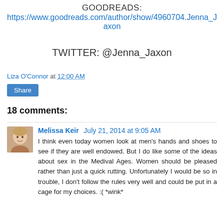GOODREADS:
https://www.goodreads.com/author/show/4960704.Jenna_Jaxon
TWITTER:  @Jenna_Jaxon
Liza O'Connor at 12:00 AM
Share
18 comments:
Melissa Keir  July 21, 2014 at 9:05 AM
[Figure (photo): Small avatar photo of Melissa Keir, a woman with light hair]
I think even today women look at men's hands and shoes to see if they are well endowed. But I do like some of the ideas about sex in the Medival Ages. Women should be pleased rather than just a quick rutting. Unfortunately I would be so in trouble, I don't follow the rules very well and could be put in a cage for my choices. :( *wink*